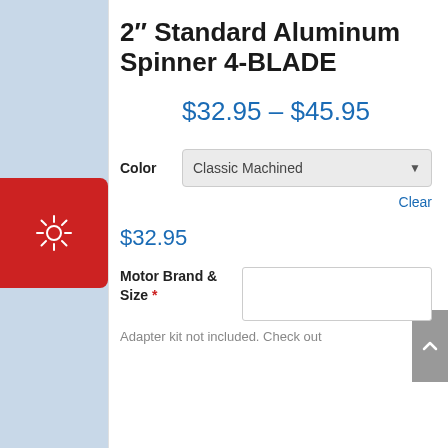2″ Standard Aluminum Spinner 4-BLADE
$32.95 – $45.95
Color: Classic Machined
Clear
$32.95
Motor Brand & Size *
Adapter kit not included. Check out